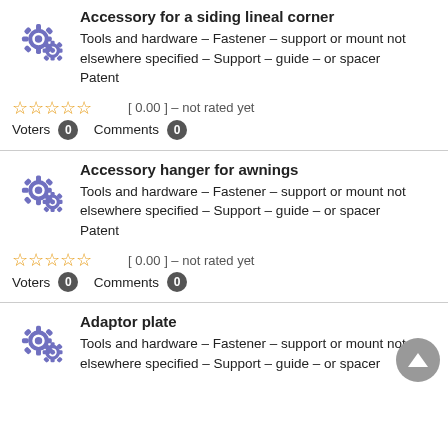Accessory for a siding lineal corner
Tools and hardware – Fastener – support or mount not elsewhere specified – Support – guide – or spacer
Patent
[ 0.00 ] – not rated yet
Voters 0  Comments 0
Accessory hanger for awnings
Tools and hardware – Fastener – support or mount not elsewhere specified – Support – guide – or spacer
Patent
[ 0.00 ] – not rated yet
Voters 0  Comments 0
Adaptor plate
Tools and hardware – Fastener – support or mount not elsewhere specified – Support – guide – or spacer